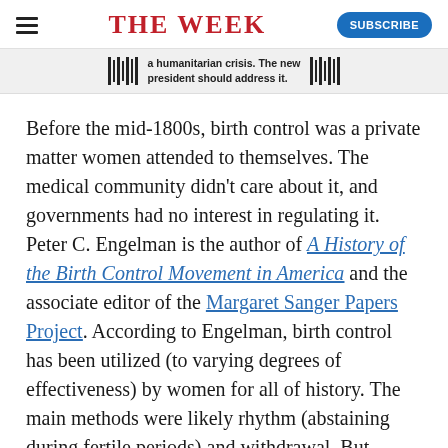THE WEEK
[Figure (other): Promotional banner strip with barcode icons and text: 'a humanitarian crisis. The new president should address it.']
Before the mid-1800s, birth control was a private matter women attended to themselves. The medical community didn't care about it, and governments had no interest in regulating it. Peter C. Engelman is the author of A History of the Birth Control Movement in America and the associate editor of the Margaret Sanger Papers Project. According to Engelman, birth control has been utilized (to varying degrees of effectiveness) by women for all of history. The main methods were likely rhythm (abstaining during fertile periods) and withdrawal. But women,